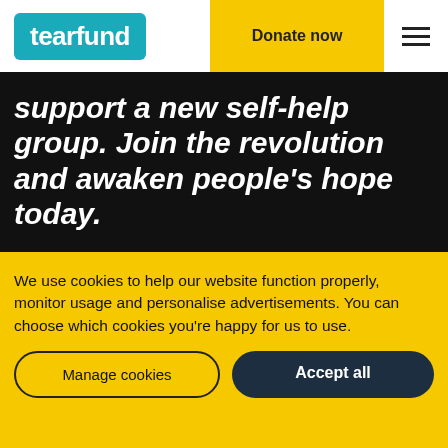tearfund | Donate now
support a new self-help group. Join the revolution and awaken people's hope today.
Donate now
We use cookies to help our website function properly, monitor usage and personalise advertisements. You can choose which cookies you're happy for us to use.
Manage cookies
Accept all